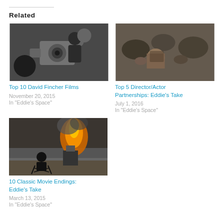Related
[Figure (photo): Black and white photo of a man with a film camera on a movie set]
Top 10 David Fincher Films
November 20, 2015
In "Eddie's Space"
[Figure (photo): Photo of soldiers and a woman huddled together, appears to be a war film scene]
Top 5 Director/Actor Partnerships: Eddie's Take
July 1, 2016
In "Eddie's Space"
[Figure (photo): Photo of a person sitting on a chair watching a building on fire in a war scene]
10 Classic Movie Endings: Eddie's Take
March 13, 2015
In "Eddie's Space"